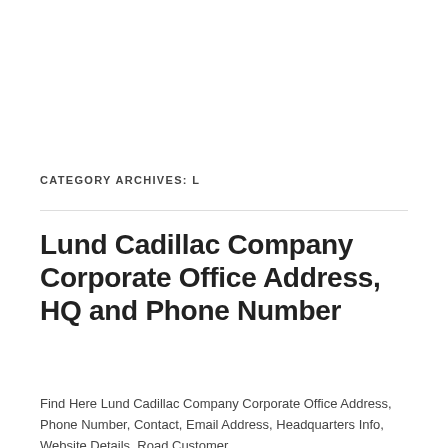CATEGORY ARCHIVES: L
Lund Cadillac Company Corporate Office Address, HQ and Phone Number
Find Here Lund Cadillac Company Corporate Office Address, Phone Number, Contact, Email Address, Headquarters Info, Website Details, Road Customer